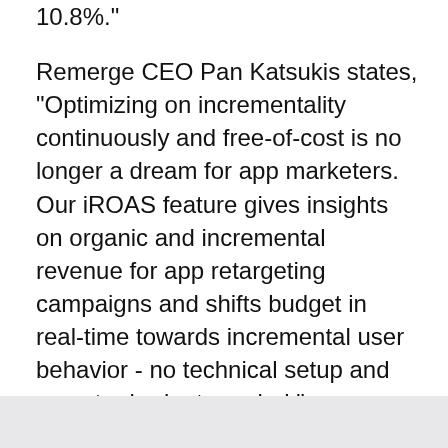10.8%.”
Remerge CEO Pan Katsukis states, “Optimizing on incrementality continuously and free-of-cost is no longer a dream for app marketers. Our iROAS feature gives insights on organic and incremental revenue for app retargeting campaigns and shifts budget in real-time towards incremental user behavior - no technical setup and no extra budget needed.”
Find out more on Remerge’s website www.remerge.io, or get in touch with us at hello@remerge.io.